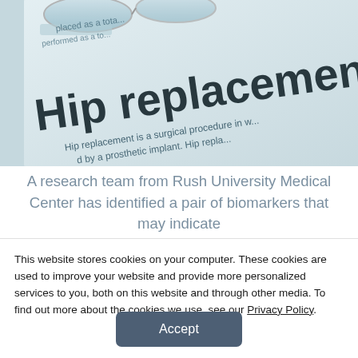[Figure (photo): Close-up photograph of a printed medical document about 'Hip replacement'. The document text reads 'Hip replacement is a surgical procedure in which... by a prosthetic implant. Hip replacement or...' with bold title 'Hip replacement'. Glasses are partially visible at the top of the image. The image has a blue-tinted, clinical look.]
A research team from Rush University Medical Center has identified a pair of biomarkers that may indicate
This website stores cookies on your computer. These cookies are used to improve your website and provide more personalized services to you, both on this website and through other media. To find out more about the cookies we use, see our Privacy Policy.